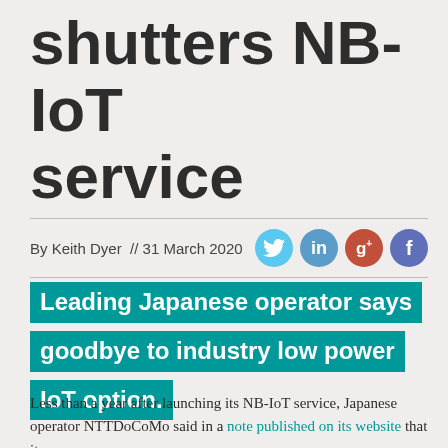shutters NB-IoT service
By Keith Dyer  // 31 March 2020
Leading Japanese operator says goodbye to industry low power IoT option.
Less than a year after launching its NB-IoT service, Japanese operator NTTDoCoMo said in a note published on its website that it